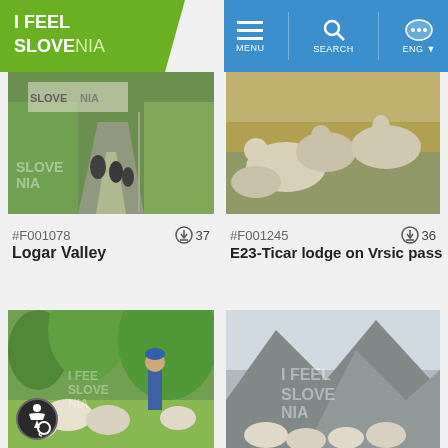[Figure (screenshot): I Feel Slovenia tourism website header with green logo and blue navigation icons for MENU, SEARCH, ENG]
[Figure (photo): Motorcycles riding on a road through Logar Valley, Slovenia with 'Slovenia' sign in background]
#F001078
37
Logar Valley
[Figure (photo): Sheep resting on alpine grass on Vrsic pass]
#F001245
36
E23-Ticar lodge on Vrsic pass
[Figure (photo): Shepherd in blue hat walking with flock of sheep in green field with accessibility icon overlay]
[Figure (photo): Rocky mountain landscape with sheep and I Feel Slovenia watermark]